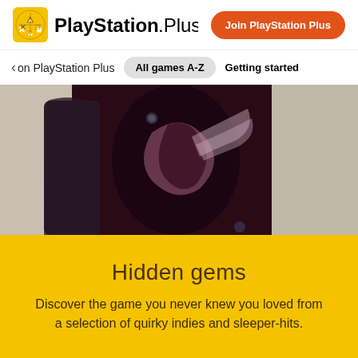[Figure (logo): PlayStation Plus logo with gold icon and bold text]
Join PlayStation Plus
< on PlayStation Plus
All games A-Z
Getting started
[Figure (photo): Dark game character screenshot showing torso with stylized design against grey background]
Hidden gems
Discover the game you never knew you loved from a selection of quirky indies and sleeper-hits.